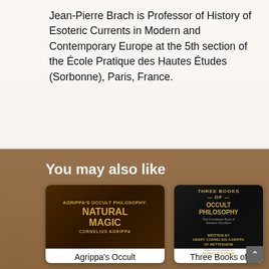Jean-Pierre Brach is Professor of History of Esoteric Currents in Modern and Contemporary Europe at the 5th section of the École Pratique des Hautes Études (Sorbonne), Paris, France.
You may also like
[Figure (photo): Book cover: Agrippa's Occult Philosophy: Natural Magic by Cornelius Agrippa. Dark brown cover with gold text and a portrait figure.]
Agrippa's Occult
[Figure (photo): Book cover: Three Books of Occult Philosophy by Henry Cornelius Agrippa of Nettesheim, edited and annotated by Donald Tyson. Dark cover with gold text and an oval portrait.]
Three Books of